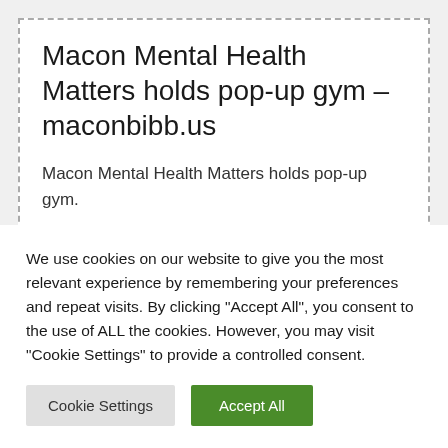Macon Mental Health Matters holds pop-up gym – maconbibb.us
Macon Mental Health Matters holds pop-up gym.
Posted: Fri, 25 Feb 2022 19:03:55 GMT [source]
ACE leads the movement in the direction of a
We use cookies on our website to give you the most relevant experience by remembering your preferences and repeat visits. By clicking "Accept All", you consent to the use of ALL the cookies. However, you may visit "Cookie Settings" to provide a controlled consent.